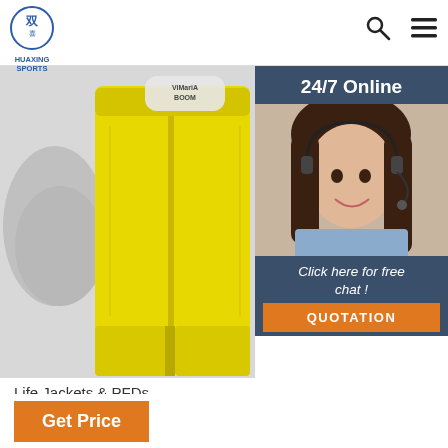HUAXING SPORTS
[Figure (photo): Yellow life jacket / PFD product photo with ViMariA logo on it, shown close-up against a light grey background]
[Figure (photo): 24/7 Online customer service widget showing a smiling woman with headset, with 'Click here for free chat!' text and orange QUOTATION button]
Life Jackets & PFDs
Shop our selection of dependable kids' life jackets and water vests for youth and adults for optimal safety while in a boat or in the water. Get it online at Canadian Tire, pick up ...
[Figure (illustration): TOP badge/icon with orange arrows]
Get Price